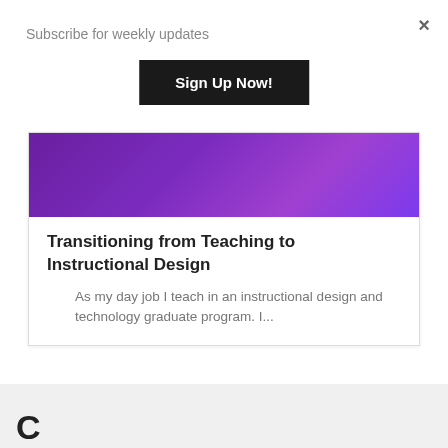Subscribe for weekly updates
Sign Up Now!
[Figure (photo): Purple gradient banner image at top of article card]
Transitioning from Teaching to Instructional Design
As my day job I teach in an instructional design and technology graduate program. I...
×
C